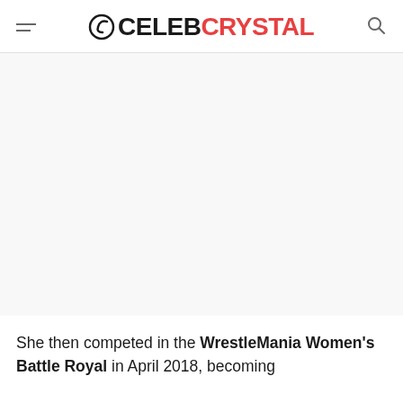CelebCrystal
[Figure (photo): Large image placeholder area (white/light gray), content not visible]
She then competed in the WrestleMania Women's Battle Royal in April 2018, becoming